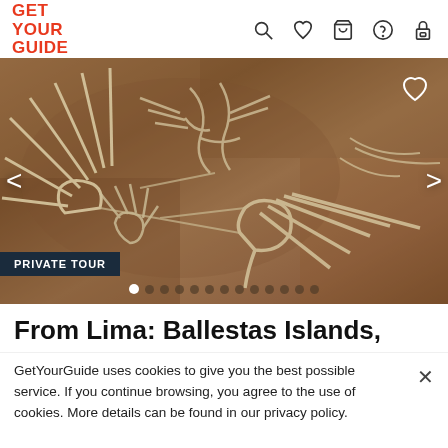GET YOUR GUIDE
[Figure (photo): Aerial view of Nazca Lines geoglyphs showing hand-like figures etched into the brown desert ground, with white line outlines visible from above.]
PRIVATE TOUR
From Lima: Ballestas Islands,
GetYourGuide uses cookies to give you the best possible service. If you continue browsing, you agree to the use of cookies. More details can be found in our privacy policy.